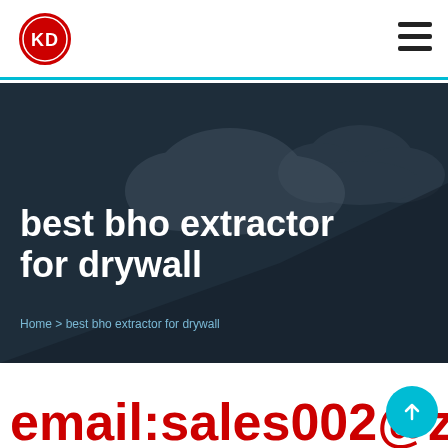[Figure (logo): KD logo — white letters KD in a red circle with double ring border]
[Figure (illustration): Hamburger menu icon — three horizontal black lines]
best bho extractor for drywall
Home > best bho extractor for drywall
email:sales002@zk...